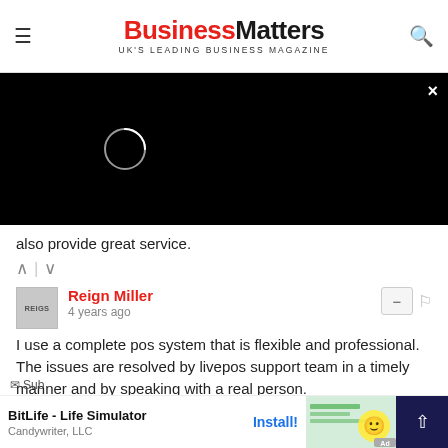BusinessMatters — UK'S LEADING BUSINESS MAGAZINE
[Figure (screenshot): Black video player overlay with loading spinner and close (×) button in top right corner]
also provide great service.
Reign Miller
4 years ago
I use a complete pos system that is flexible and professional. The issues are resolved by livepos support team in a timely manner and by speaking with a real person.
BitLife - Life Simulator
Candywriter, LLC
Install!